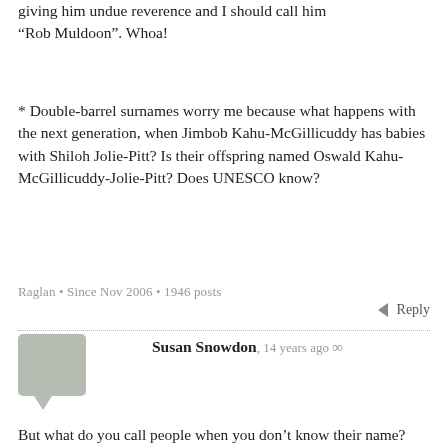giving him undue reverence and I should call him “Rob Muldoon”. Whoa!
* Double-barrel surnames worry me because what happens with the next generation, when Jimbob Kahu-McGillicuddy has babies with Shiloh Jolie-Pitt? Is their offspring named Oswald Kahu-McGillicuddy-Jolie-Pitt? Does UNESCO know?
Raglan • Since Nov 2006 • 1946 posts
Reply
Susan Snowdon, 14 years ago ∞
But what do you call people when you don’t know their name? e.g. running after someone who’s left their wallet behind. Calling them ‘Excuse me’ in a loud voice seems so silly. When I was a kid the fish and chip shop lady called everyone ‘Dearie’ – it worked for her.
Since Mar 2008 • 110 posts
Reply